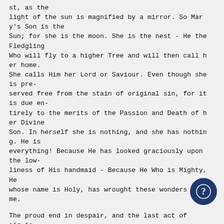st, as the light of the sun is magnified by a mirror. So Mary's Son is the Sun; for she is the moon. She is the nest - He the Fledgling Who will fly to a higher Tree and will then call her home. She calls Him her Lord or Saviour. Even though she is pre-served free from the stain of original sin, for it is due entirely to the merits of the Passion and Death of her Divine Son. In herself she is nothing, and she has nothing. He is everything! Because He has looked graciously upon the lowliness of His handmaid - Because He Who is Mighty, He whose name is Holy, has wrought these wonders for me.

The proud end in despair, and the last act of air is